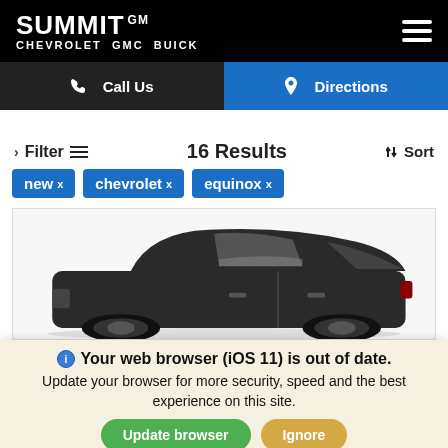[Figure (logo): Summit GM Chevrolet GMC Buick dealership logo in white text on black background]
Call Us
Directions
> Filter  16 Results  Sort
new x  chevrolet x  equinox x
[Figure (photo): Dark colored Chevrolet Equinox SUV viewed from the side/rear angle]
Your web browser (iOS 11) is out of date. Update your browser for more security, speed and the best experience on this site.
Update browser
Ignore